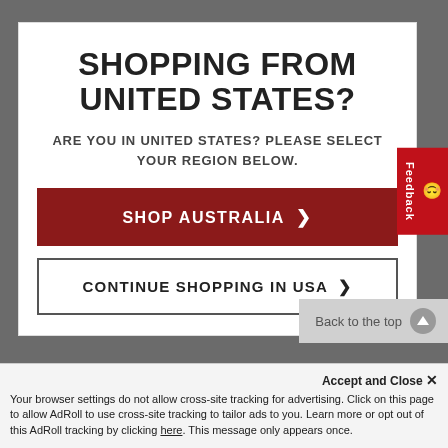SHOPPING FROM UNITED STATES?
ARE YOU IN UNITED STATES? PLEASE SELECT YOUR REGION BELOW.
SHOP AUSTRALIA >
CONTINUE SHOPPING IN USA >
Back to the top
Feedback
Accept and Close ✕
Your browser settings do not allow cross-site tracking for advertising. Click on this page to allow AdRoll to use cross-site tracking to tailor ads to you. Learn more or opt out of this AdRoll tracking by clicking here. This message only appears once.